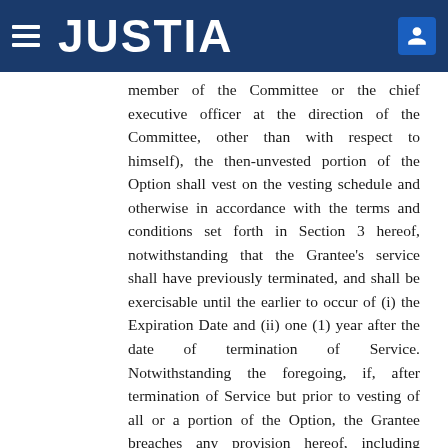JUSTIA
member of the Committee or the chief executive officer at the direction of the Committee, other than with respect to himself), the then-unvested portion of the Option shall vest on the vesting schedule and otherwise in accordance with the terms and conditions set forth in Section 3 hereof, notwithstanding that the Grantee's service shall have previously terminated, and shall be exercisable until the earlier to occur of (i) the Expiration Date and (ii) one (1) year after the date of termination of Service. Notwithstanding the foregoing, if, after termination of Service but prior to vesting of all or a portion of the Option, the Grantee breaches any provision hereof, including without limitation the provisions